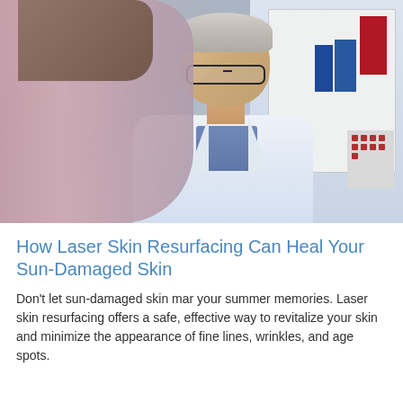[Figure (photo): A doctor in a white coat consulting with a patient. The doctor is an older man with grey hair and glasses, wearing a light blue shirt under his white coat. The patient is seen from behind in the foreground on the left side, out of focus. The background shows a medical office with shelves containing binders and files.]
How Laser Skin Resurfacing Can Heal Your Sun-Damaged Skin
Don't let sun-damaged skin mar your summer memories. Laser skin resurfacing offers a safe, effective way to revitalize your skin and minimize the appearance of fine lines, wrinkles, and age spots.